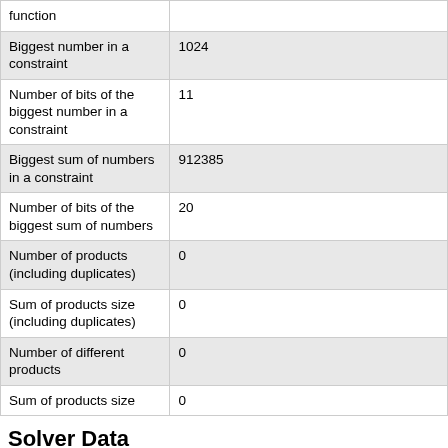| function |  |
| Biggest number in a constraint | 1024 |
| Number of bits of the biggest number in a constraint | 11 |
| Biggest sum of numbers in a constraint | 912385 |
| Number of bits of the biggest sum of numbers | 20 |
| Number of products (including duplicates) | 0 |
| Sum of products size (including duplicates) | 0 |
| Number of different products | 0 |
| Sum of products size | 0 |
Solver Data